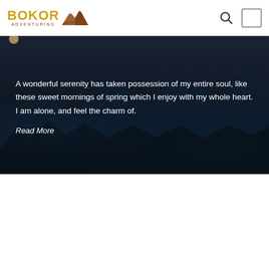BOKOR ADVENTURING
[Figure (screenshot): Dark mountain landscape background with night sky, silhouettes of trees and mountains]
A wonderful serenity has taken possession of my entire soul, like these sweet mornings of spring which I enjoy with my whole heart. I am alone, and feel the charm of.
Read More